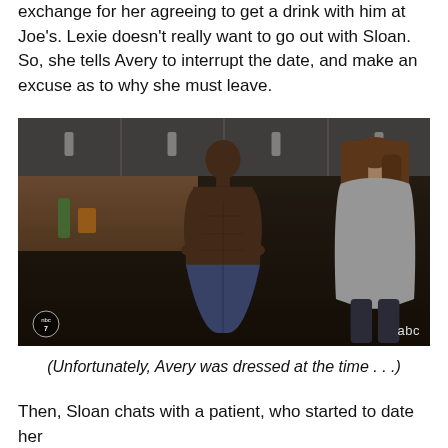exchange for her agreeing to get a drink with him at Joe's. Lexie doesn't really want to go out with Sloan.  So, she tells Avery to interrupt the date, and make an excuse as to why she must leave.
[Figure (photo): TV screenshot of a locker room scene showing a shirtless muscular man standing facing a woman with long brown hair who has her back to the camera. Locker room background with metal lockers and wooden counter. ABC and NBC7 logos visible.]
(Unfortunately, Avery was dressed at the time . . .)
Then, Sloan chats with a patient, who started to date her